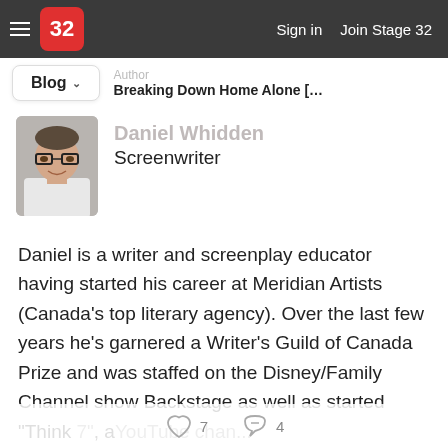≡  32   Sign in   Join Stage 32
Blog ▾   Author  Breaking Down Home Alone [For All "Ya...
Daniel Whidden
Screenwriter
[Figure (photo): Profile photo of Daniel Whidden, a young man with glasses wearing a white t-shirt]
Daniel is a writer and screenplay educator having started his career at Meridian Artists (Canada's top literary agency). Over the last few years he's garnered a Writer's Guild of Canada Prize and was staffed on the Disney/Family Channel show Backstage as well as started "Think Story", a YouTube chan...